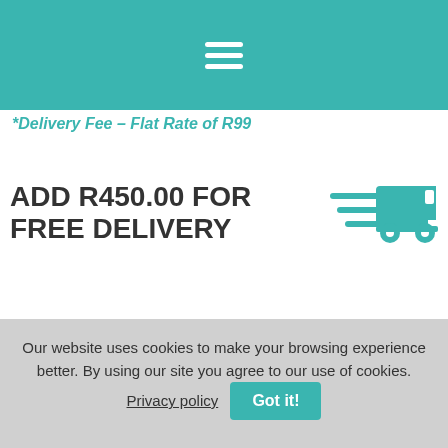[Figure (screenshot): Teal navigation header bar with hamburger menu icon (three white horizontal lines)]
*Delivery Fee – Flat Rate of R99
ADD R450.00 FOR FREE DELIVERY
[Figure (illustration): Teal fast delivery truck icon with speed lines]
[Figure (screenshot): Left and right navigation arrow buttons (grey circles with chevrons)]
Our website uses cookies to make your browsing experience better. By using our site you agree to our use of cookies. Privacy policy  Got it!